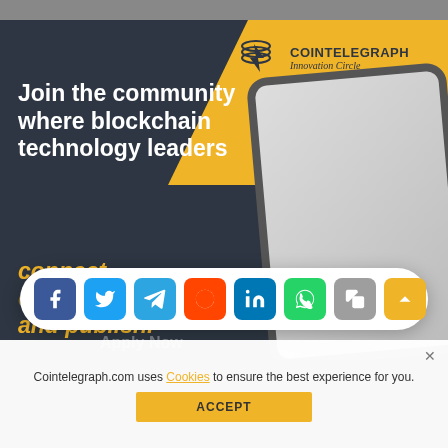[Figure (screenshot): Top partial strip showing a blurred background image]
[Figure (infographic): Cointelegraph Innovation Circle advertisement on dark background with yellow accent. Shows logo, headline text 'Join the community where blockchain technology leaders connect, collaborate, and publish.' with phone illustration and social icons in a network graph background.]
Join the community where blockchain technology leaders
connect,
and publish.
[Figure (infographic): Social media share bar with icons for Facebook, Twitter, Telegram, Reddit, LinkedIn, WhatsApp, Copy, and scroll-up button]
Cointelegraph.com uses Cookies to ensure the best experience for you.
ACCEPT